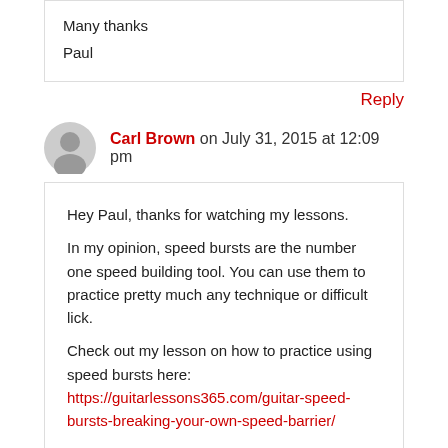Many thanks

Paul
Reply
Carl Brown on July 31, 2015 at 12:09 pm
Hey Paul, thanks for watching my lessons.

In my opinion, speed bursts are the number one speed building tool. You can use them to practice pretty much any technique or difficult lick.

Check out my lesson on how to practice using speed bursts here:
https://guitarlessons365.com/guitar-speed-bursts-breaking-your-own-speed-barrier/

Good Luck!

Carl...